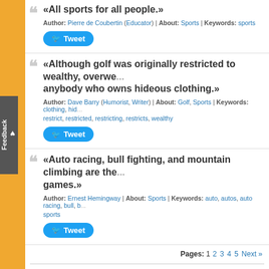«All sports for all people.»
Author: Pierre de Coubertin (Educator) | About: Sports | Keywords: sports
Tweet
«Although golf was originally restricted to wealthy, overwe... anybody who owns hideous clothing.»
Author: Dave Barry (Humorist, Writer) | About: Golf, Sports | Keywords: clothing, hid... restrict, restricted, restricting, restricts, wealthy
Tweet
«Auto racing, bull fighting, and mountain climbing are the... games.»
Author: Ernest Hemingway | About: Sports | Keywords: auto, autos, auto racing, bull, b... sports
Tweet
Pages: 1 2 3 4 5 Next »